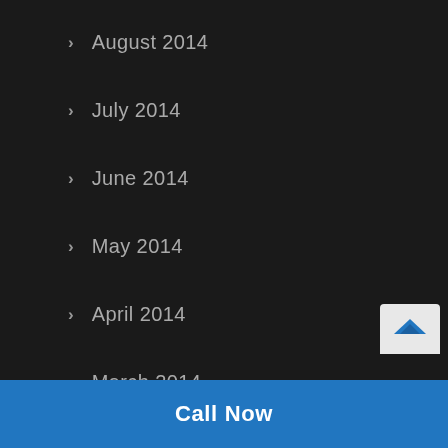August 2014
July 2014
June 2014
May 2014
April 2014
March 2014
February 2014
January 2014
December 2013
November 2013
October 2013
Call Now